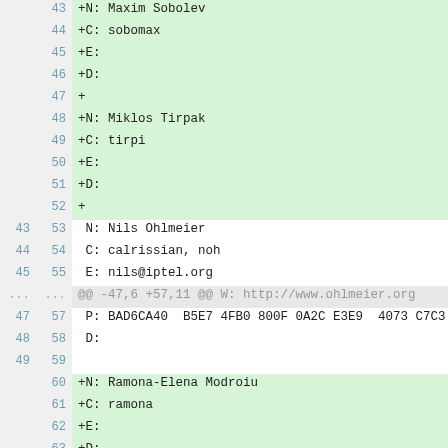diff view of a contacts/CONTRIBUTORS file showing added and context lines, lines 43-66
43 +N: Maxim Sobolev
44 +C: sobomax
45 +E:
46 +D:
47 +
48 +N: Miklos Tirpak
49 +C: tirpi
50 +E:
51 +D:
52 +
43 53  N: Nils Ohlmeier
44 54  C: calrissian, noh
45 55  E: nils@iptel.org
... ... @@ -47,6 +57,11 @@ W: http://www.ohlmeier.org
47 57  P: BAD6CA40  B5E7 4FB0 800F 0A2C E3E9  4073 C7C3
48 58  D:
49 59
60 +N: Ramona-Elena Modroiu
61 +C: ramona
62 +E:
63 +D:
64 +
50 65  N: Raphael Coeffic
51 66  C: rco